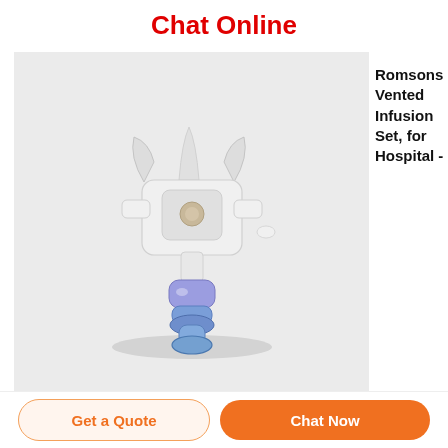Chat Online
[Figure (photo): Romsons Vented Infusion Set drip chamber component with white plastic clip/bracket and purple/blue luer lock connector, photographed on light grey background]
Romsons Vented Infusion Set, for Hospital -
Get a Quote
Chat Now